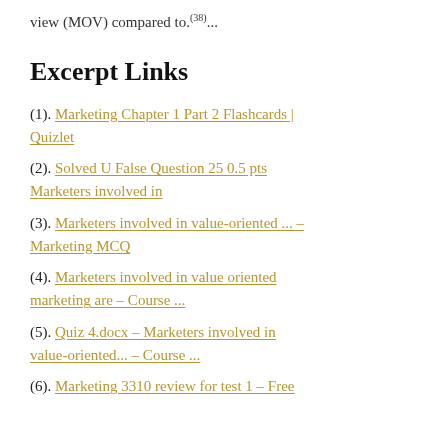view (MOV) compared to.(38)...
Excerpt Links
(1). Marketing Chapter 1 Part 2 Flashcards | Quizlet
(2). Solved U False Question 25 0.5 pts Marketers involved in
(3). Marketers involved in value-oriented ... – Marketing MCQ
(4). Marketers involved in value oriented marketing are – Course ...
(5). Quiz 4.docx – Marketers involved in value-oriented... – Course ...
(6). Marketing 3310 review for test 1 – Free